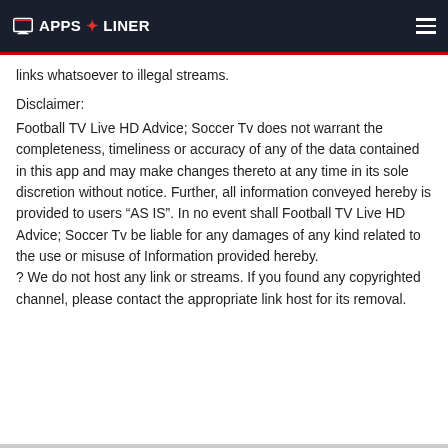APPS LINER
links whatsoever to illegal streams.
Disclaimer:
Football TV Live HD Advice; Soccer Tv does not warrant the completeness, timeliness or accuracy of any of the data contained in this app and may make changes thereto at any time in its sole discretion without notice. Further, all information conveyed hereby is provided to users “AS IS”. In no event shall Football TV Live HD Advice; Soccer Tv be liable for any damages of any kind related to the use or misuse of Information provided hereby.
? We do not host any link or streams. If you found any copyrighted channel, please contact the appropriate link host for its removal.